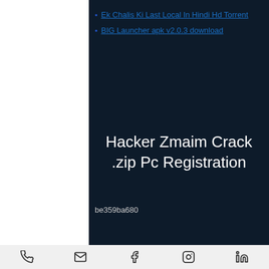Ek Chalis Ki Last Local In Hindi Hd Torrent
BIG Launcher apk v2.0.3 download
Hacker Zmaim Crack .zip Pc Registration
be359ba680
[Figure (other): Bottom navigation bar with icons: phone, email, facebook, instagram, linkedin]